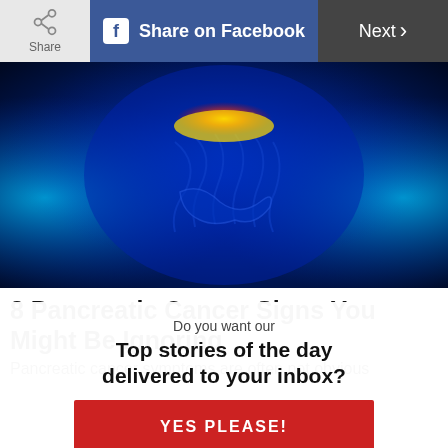Share | Share on Facebook | Next >
[Figure (illustration): Medical illustration of human torso internal organs viewed from front, glowing blue with highlighted pancreas area in orange/red/yellow, dark blue background]
8 Pancreatic Cancer Signs You Might Be Ignoring
Pancreatic cancer symptoms are often not obvious
Do you want our
Top stories of the day delivered to your inbox?
YES PLEASE!
NO THANKS